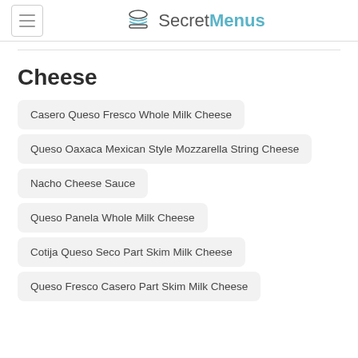SecretMenus
Cheese
Casero Queso Fresco Whole Milk Cheese
Queso Oaxaca Mexican Style Mozzarella String Cheese
Nacho Cheese Sauce
Queso Panela Whole Milk Cheese
Cotija Queso Seco Part Skim Milk Cheese
Queso Fresco Casero Part Skim Milk Cheese